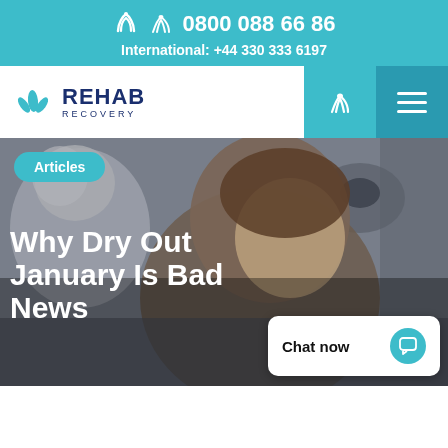0800 088 66 86   International: +44 330 333 6197
[Figure (screenshot): Rehab Recovery website logo with teal leaf icon, REHAB RECOVERY text in navy, and navigation bar with phone and hamburger menu icons]
[Figure (photo): Blurred photo of two people embracing, background interior scene]
Articles
Why Dry Out January Is Bad News